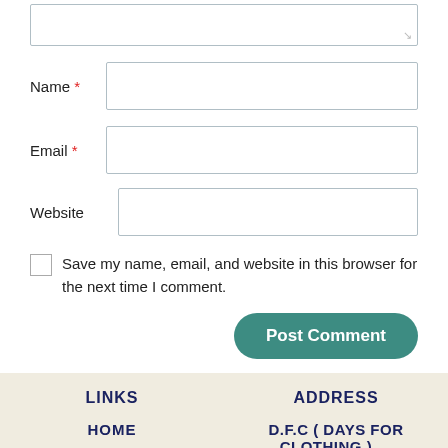[Figure (screenshot): Partial textarea input box at the top of the page]
Name *
Email *
Website
Save my name, email, and website in this browser for the next time I comment.
Post Comment
LINKS
ADDRESS
HOME
D.F.C ( DAYS FOR CLOTHING ) …